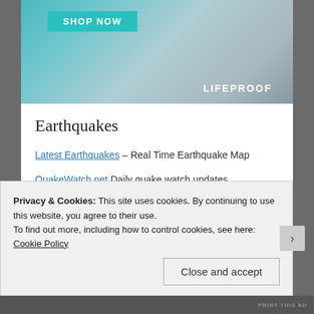[Figure (photo): Advertisement banner showing a person outdoors in winter gear with a LifeProof phone case product, teal SHOP NOW button, and LIFEPROOF branding]
Earthquakes
Latest Earthquakes – Real Time Earthquake Map
QuakeWatch.net Daily quake watch updates
Volcano Discovery Latest Earthquakes World-Wide Past 24 hrs
Emergency and Disaster
Privacy & Cookies: This site uses cookies. By continuing to use this website, you agree to their use.
To find out more, including how to control cookies, see here: Cookie Policy
Close and accept